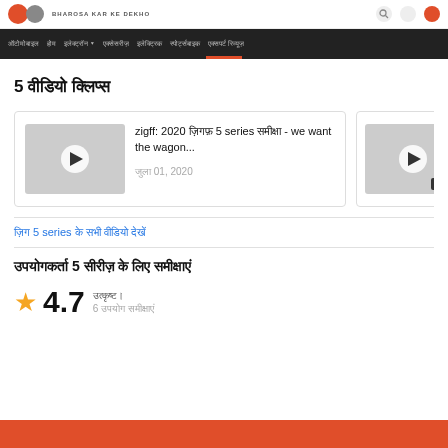BHAROSA KAR KE DEKHO
Navigation bar
5 वीडियो क्लिप्स
[Figure (screenshot): Video card with play button thumbnail for 'zigff: 2020 वैर्षिक 5 series समीक्षा - we want the wagon...' dated जुला 01, 2020]
[Figure (screenshot): Partial video card with play button and duration 3:16, text cut off, dated jul 2...]
ज़िग 5 series के सभी वीडियो देखें
उपयोगकर्ता 5 सीरीज़ के लिए समीक्षाएं
4.7
उत्कृष्ट।
6 उपयोग समीक्षाएं